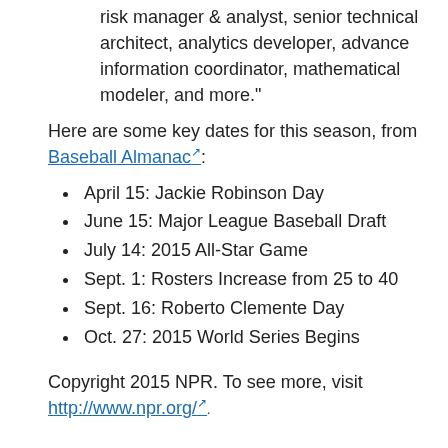risk manager & analyst, senior technical architect, analytics developer, advance information coordinator, mathematical modeler, and more."
Here are some key dates for this season, from Baseball Almanac:
April 15: Jackie Robinson Day
June 15: Major League Baseball Draft
July 14: 2015 All-Star Game
Sept. 1: Rosters Increase from 25 to 40
Sept. 16: Roberto Clemente Day
Oct. 27: 2015 World Series Begins
Copyright 2015 NPR. To see more, visit http://www.npr.org/.